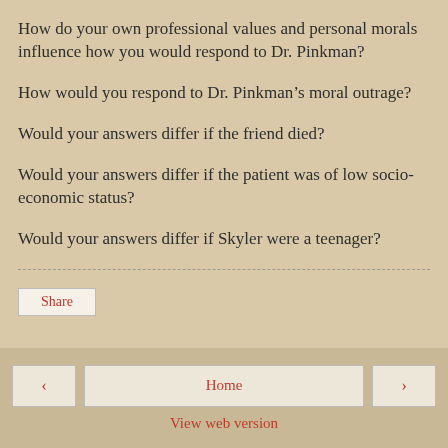How do your own professional values and personal morals influence how you would respond to Dr. Pinkman?
How would you respond to Dr. Pinkman’s moral outrage?
Would your answers differ if the friend died?
Would your answers differ if the patient was of low socio-economic status?
Would your answers differ if Skyler were a teenager?
Share | ‹ Home › | View web version